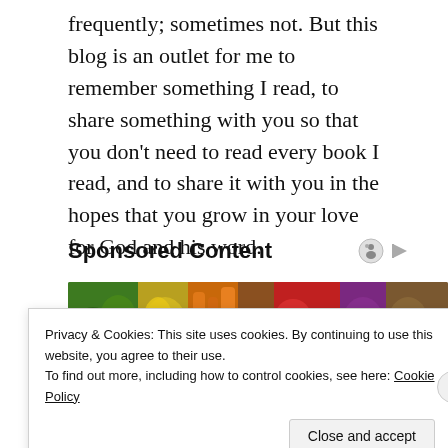frequently; sometimes not. But this blog is an outlet for me to remember something I read, to share something with you so that you don't need to read every book I read, and to share it with you in the hopes that you grow in your love for God and his word.
Sponsored Content
[Figure (photo): Colorful assortment of fresh vegetables and fruits including broccoli, yellow bell peppers, carrots, tomatoes, strawberries, onions, and potatoes arranged together]
Privacy & Cookies: This site uses cookies. By continuing to use this website, you agree to their use.
To find out more, including how to control cookies, see here: Cookie Policy
Close and accept